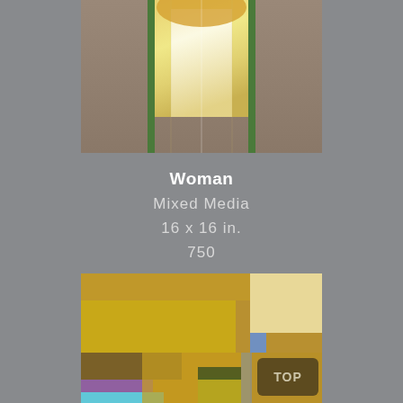[Figure (photo): Top portion of a mixed media artwork showing yellow and golden tones with green borders on left and right sides, depicting a woman figure]
Woman
Mixed Media
16 x 16 in.
750
[Figure (photo): Bottom portion of a mixed media artwork showing abstract colored rectangles in golden/ochre, yellow, cream, brown, purple, cyan, and lime green tones on a golden-brown background, with a TOP button overlay]